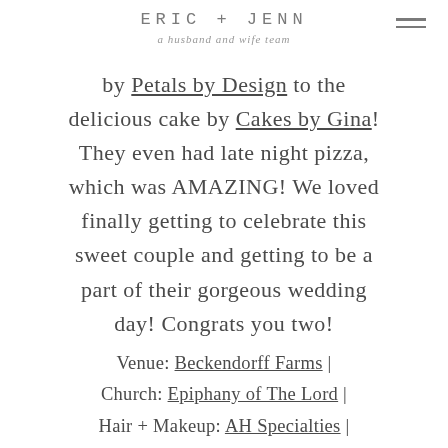ERIC + JENN
a husband and wife team
by Petals by Design to the delicious cake by Cakes by Gina! They even had late night pizza, which was AMAZING! We loved finally getting to celebrate this sweet couple and getting to be a part of their gorgeous wedding day! Congrats you two!
Venue: Beckendorff Farms | Church: Epiphany of The Lord | Hair + Makeup: AH Specialties |